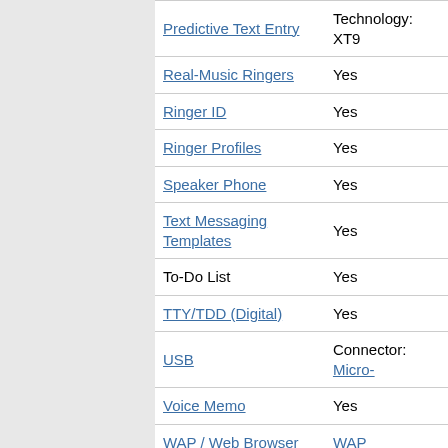| Feature | Value |
| --- | --- |
| Predictive Text Entry | Technology: XT9 |
| Real-Music Ringers | Yes |
| Ringer ID | Yes |
| Ringer Profiles | Yes |
| Speaker Phone | Yes |
| Text Messaging Templates | Yes |
| To-Do List | Yes |
| TTY/TDD (Digital) | Yes |
| USB | Connector: Micro- |
| Voice Memo | Yes |
| WAP / Web Browser | WAP |
More
FCC IDs   A3LSGHA157 »  approved Feb   A3LSGHA157V »  approved Jul
Samsung User Manuals »
Find a mistake or omission? Submit a Correction